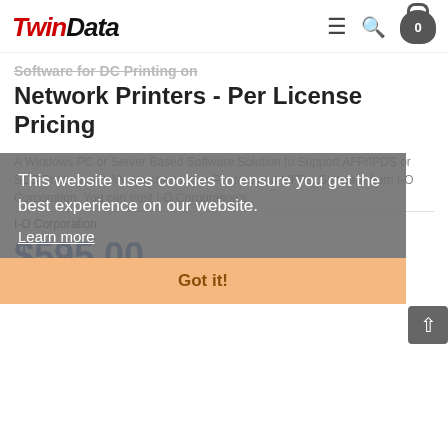TwinData — navigation header with logo, hamburger menu, search, and cart (0 items)
Software for DC Printing on Network Printers - Per License Pricing
A Windows PC or Server Based Software Solution to Support AFP/IPDS or SCS Printing on LAN Attached Laser Printers and MFPs. Software from I-O Corporation. You can trust I-O Corporation's
I-O Corporation
$595.00
Availability:  Many In Stock
This website uses cookies to ensure you get the best experience on our website.
Learn more
Got it!